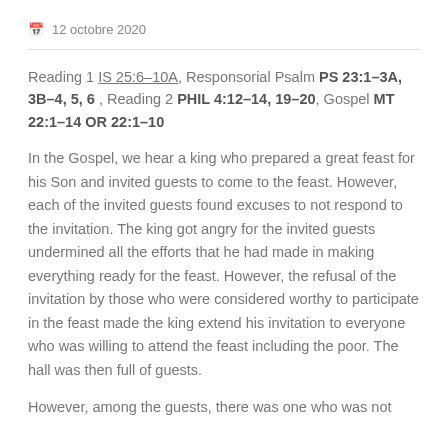12 octobre 2020
Reading 1 IS 25:6-10A, Responsorial Psalm PS 23:1-3A, 3B-4, 5, 6 , Reading 2 PHIL 4:12-14, 19-20, Gospel MT 22:1-14 OR 22:1-10
In the Gospel, we hear a king who prepared a great feast for his Son and invited guests to come to the feast. However, each of the invited guests found excuses to not respond to the invitation. The king got angry for the invited guests undermined all the efforts that he had made in making everything ready for the feast. However, the refusal of the invitation by those who were considered worthy to participate in the feast made the king extend his invitation to everyone who was willing to attend the feast including the poor. The hall was then full of guests.
However, among the guests, there was one who was not